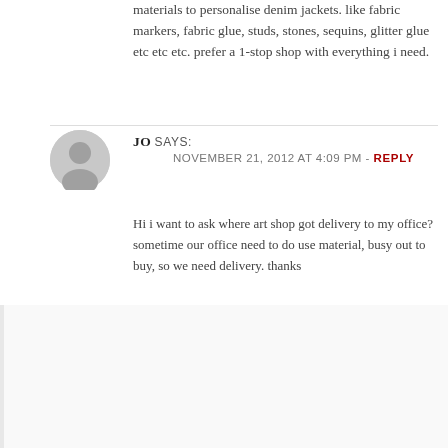materials to personalise denim jackets. like fabric markers, fabric glue, studs, stones, sequins, glitter glue etc etc etc. prefer a 1-stop shop with everything i need.
JO SAYS:
NOVEMBER 21, 2012 AT 4:09 PM - REPLY
Hi i want to ask where art shop got delivery to my office? sometime our office need to do use material, busy out to buy, so we need delivery. thanks
HAZELONG SAYS:
NOVEMBER 29, 2012 AT 8:51 PM - REPLY
http://maymayshop.blogspot.com/
http://loveandcraftsupply.blogspot.com/search/label/All
http://craftzone-my.blogspot.com/